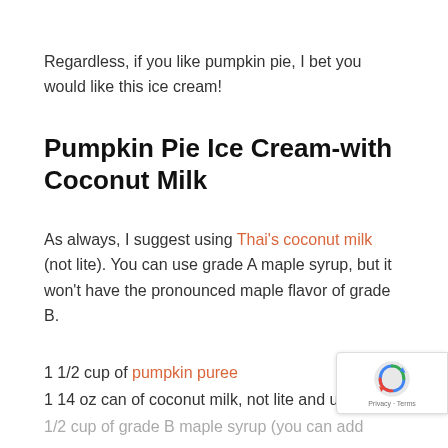Regardless, if you like pumpkin pie, I bet you would like this ice cream!
Pumpkin Pie Ice Cream-with Coconut Milk
As always, I suggest using Thai's coconut milk (not lite). You can use grade A maple syrup, but it won't have the pronounced maple flavor of grade B.
1 1/2 cup of pumpkin puree
1 14 oz can of coconut milk, not lite and unswee…
1/2 cup of grade B maple syrup (you can add mo…